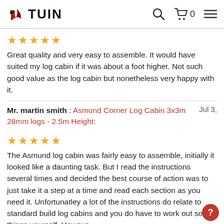TUIN
★★★★★
Great quality and very easy to assemble. It would have suited my log cabin if it was about a foot higher. Not such good value as the log cabin but nonetheless very happy with it.
Mr. martin smith : Asmund Corner Log Cabin 3x3m 28mm logs - 2.5m Height: Jul 3,
★★★★★
The Asmund log cabin was fairly easy to assemble, initially it looked like a daunting task. But I read the instructions several times and decided the best course of action was to just take it a step at a time and read each section as you need it. Unfortunatley a lot of the instructions do relate to standard build log cabins and you do have to work out some things yourself. Howeve